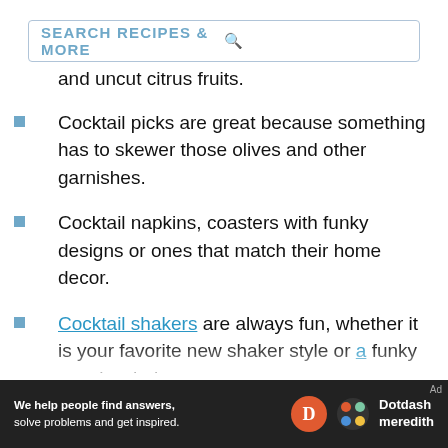SEARCH RECIPES & MORE
and uncut citrus fruits.
Cocktail picks are great because something has to skewer those olives and other garnishes.
Cocktail napkins, coasters with funky designs or ones that match their home decor.
Cocktail shakers are always fun, whether it is your favorite new shaker style or a funky novelty shaker.
Other essential bar tools they may not have...
[Figure (logo): Dotdash Meredith advertisement banner with logo]